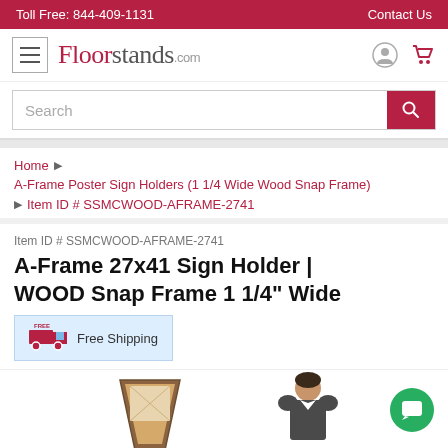Toll Free: 844-409-1131 | Contact Us
[Figure (logo): Floorstands.com logo with hamburger menu, user icon, and cart icon]
Search
Home › A-Frame Poster Sign Holders (1 1/4 Wide Wood Snap Frame) › Item ID # SSMCWOOD-AFRAME-2741
Item ID # SSMCWOOD-AFRAME-2741
A-Frame 27x41 Sign Holder | WOOD Snap Frame 1 1/4" Wide
Free Shipping
[Figure (photo): A-Frame 27x41 wooden snap frame sign holder display with a person standing next to it]